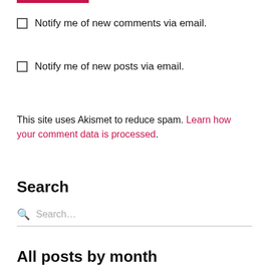Notify me of new comments via email.
Notify me of new posts via email.
This site uses Akismet to reduce spam. Learn how your comment data is processed.
Search
Search...
All posts by month